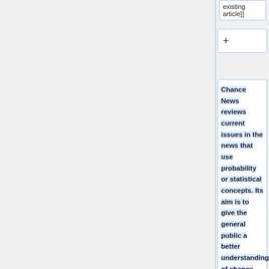existing article]]
+
Chance News reviews current issues in the news that use probability or statistical concepts. Its aim is to give the general public a better understanding of chance news as reported by the media and to allow teachers of probability and statistics courses to liven up their